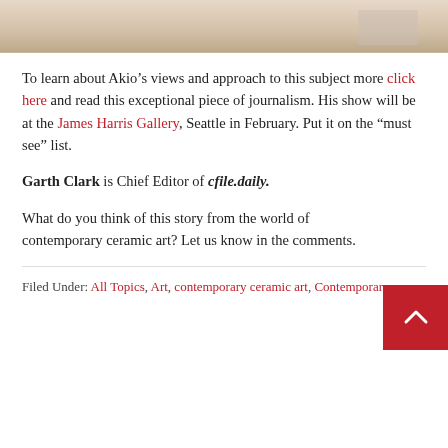[Figure (photo): Partial view of a gallery or exhibition space, showing walls and artwork, warm beige tones]
To learn about Akio’s views and approach to this subject more click here and read this exceptional piece of journalism. His show will be at the James Harris Gallery, Seattle in February. Put it on the “must see” list.
Garth Clark is Chief Editor of cfile.daily.
What do you think of this story from the world of contemporary ceramic art? Let us know in the comments.
Filed Under: All Topics, Art, contemporary ceramic art, Contemporary